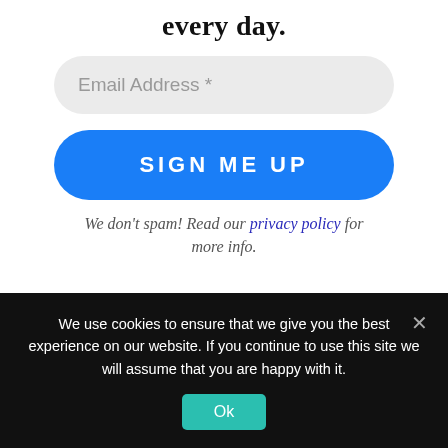every day.
Email Address *
SIGN ME UP
We don't spam! Read our privacy policy for more info.
PAGES
We use cookies to ensure that we give you the best experience on our website. If you continue to use this site we will assume that you are happy with it.
Ok